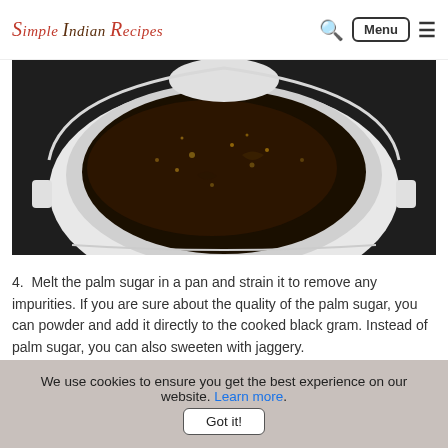Simple Indian Recipes — navigation bar with search and menu
[Figure (photo): A white pressure cooker bowl containing dark, melted palm sugar (jaggery) with some impurities visible, viewed from above on a dark surface.]
4. Melt the palm sugar in a pan and strain it to remove any impurities. If you are sure about the quality of the palm sugar, you can powder and add it directly to the cooked black gram. Instead of palm sugar, you can also sweeten with jaggery.
We use cookies to ensure you get the best experience on our website. Learn more. [Got it! button]